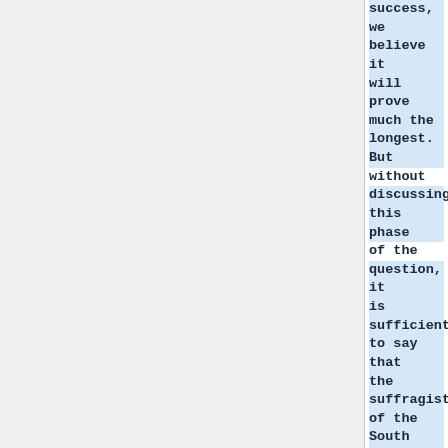success, we believe it will prove much the longest. But without discussing this phase of the question, it is sufficient to say that the suffragists of the South appreciating the difficulties lying in their pathway, and